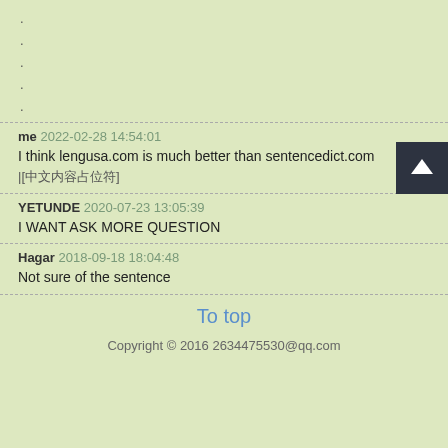.
.
.
.
.
me 2022-02-28 14:54:01
I think lengusa.com is much better than sentencedict.com
|[Chinese characters]
YETUNDE 2020-07-23 13:05:39
I WANT ASK MORE QUESTION
Hagar 2018-09-18 18:04:48
Not sure of the sentence
To top
Copyright © 2016 2634475530@qq.com